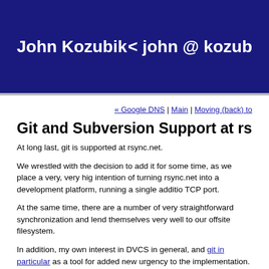John Kozubik  < john @ kozub
« Google DNS | Main | Moving (back) to
Git and Subversion Support at rsync.net
At long last, git is supported at rsync.net.
We wrestled with the decision to add it for some time, as we place a very, very hig intention of turning rsync.net into a development platform, running a single additio TCP port.
At the same time, there are a number of very straightforward synchronization and lend themselves very well to our offsite filesystem.
In addition, my own interest in DVCS in general, and git in particular as a tool for added new urgency to the implementation.
That being said, we will not be adding any further such systems. There will not be aware of some ways to run Mercurial over a git, or subversion "transport" and user
Some details...